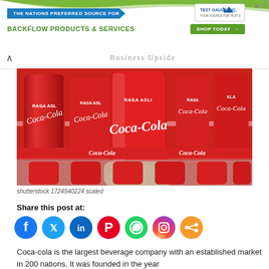[Figure (other): Advertisement banner for Test Gauge Inc. promoting backflow products and services with green wave background, blue arrow bar, and shop today button]
Business Upside
[Figure (photo): Hand holding a red Coca-Cola can (labeled RASA ASLI) in front of a refrigerator shelf stocked with multiple Coca-Cola cans]
shutterstock 1724540224 scaled
Share this post at:
[Figure (infographic): Social media share icons row: Facebook (blue), Twitter (light blue), LinkedIn (dark blue), Pinterest (red), WhatsApp (green), Instagram (gradient), Share (orange)]
Coca-cola is the largest beverage company with an established market in 200 nations. It was founded in the year